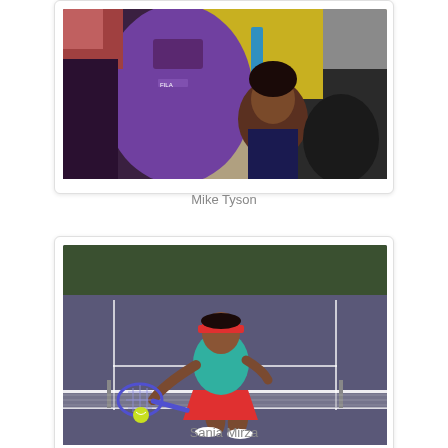[Figure (photo): People at a sporting event: a person in a purple Fila jacket seen from behind, a young girl, and a man in a yellow shirt with a blue lanyard in the background]
Mike Tyson
[Figure (photo): A female tennis player in a teal shirt, red skirt, and red visor hitting a tennis ball on a hard court with a net in the foreground]
Sania Mirza